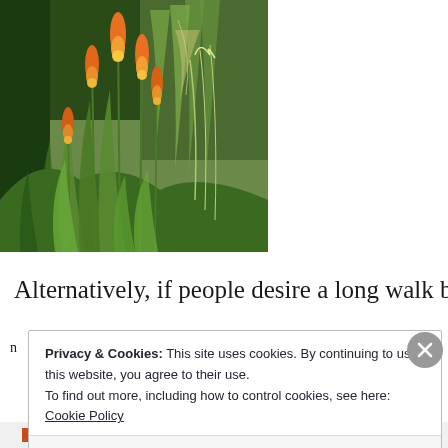[Figure (photo): Garden photograph showing red hot poker plants (Kniphofia) with tall orange and yellow flame-shaped flower spikes, surrounded by lush green ornamental grasses and foliage]
Alternatively, if people desire a long walk before
Privacy & Cookies: This site uses cookies. By continuing to use this website, you agree to their use.
To find out more, including how to control cookies, see here: Cookie Policy
Close and accept